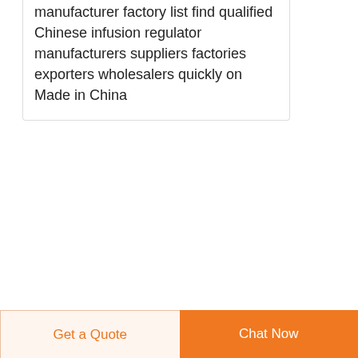manufacturer factory list find qualified Chinese infusion regulator manufacturers suppliers factories exporters wholesalers quickly on Made in China
Syringes and NeedlesBD
[Figure (photo): Small thumbnail image of syringes/needles product on teal/blue background]
Syringes and needles Choose syringe and needle technology that makes a difference BD is a leading manufacturer and provider of safety injection needles and syringes 1 continually pioneering the
[Figure (other): Dark navy blue circular button with white upward arrow (scroll to top)]
Get a Quote
Chat Now